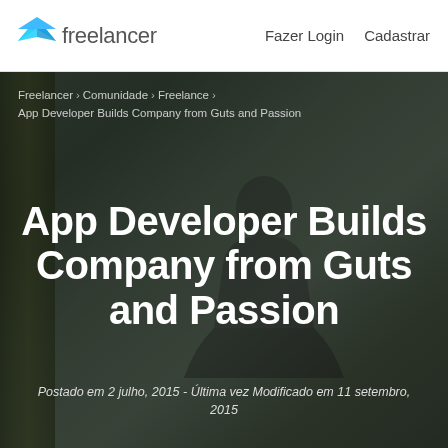freelancer  Fazer Login  Cadastrar
Freelancer › Comunidade › Freelance › App Developer Builds Company from Guts and Passion
App Developer Builds Company from Guts and Passion
Postado em 2 julho, 2015 - Última vez Modificado em 11 setembro, 2015